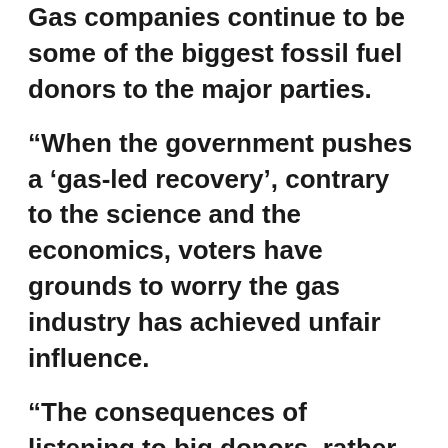Gas companies continue to be some of the biggest fossil fuel donors to the major parties.
“When the government pushes a ‘gas-led recovery’, contrary to the science and the economics, voters have grounds to worry the gas industry has achieved unfair influence.
“The consequences of listening to big donors, rather than the Australian public, means decisions are made that put corporate profits ahead of the health of people and the planet.
“There is a severe lack of transparency in our donations reporting regime. The public only gets small glimpses into the vast flow of money that goes into the coffers of the major parties.